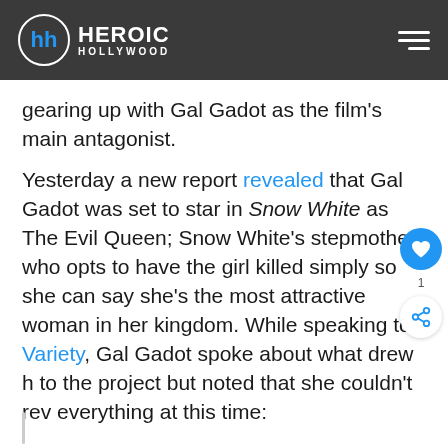Heroic Hollywood
gearing up with Gal Gadot as the film's main antagonist.
Yesterday a new report revealed that Gal Gadot was set to star in Snow White as The Evil Queen; Snow White's stepmother who opts to have the girl killed simply so she can say she's the most attractive woman in her kingdom. While speaking to Variety, Gal Gadot spoke about what drew h to the project but noted that she couldn't rev everything at this time: